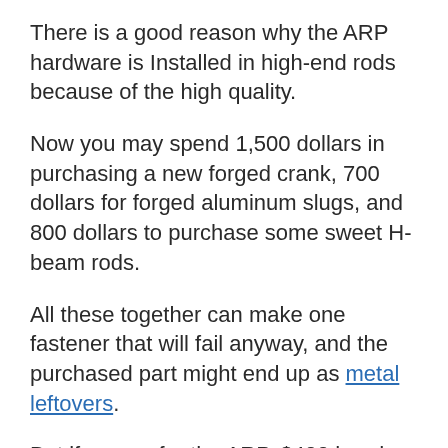There is a good reason why the ARP hardware is Installed in high-end rods because of the high quality.
Now you may spend 1,500 dollars in purchasing a new forged crank, 700 dollars for forged aluminum slugs, and 800 dollars to purchase some sweet H-beam rods.
All these together can make one fastener that will fail anyway, and the purchased part might end up as metal leftovers.
But if you go for the ARP, $400 head bolts set, it will surely protect all the other parts you spend money on and thus serve you as insurance.